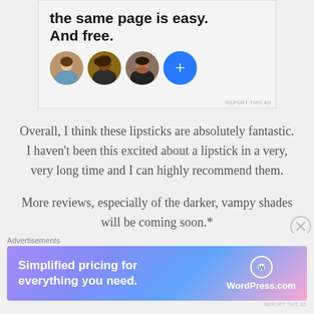[Figure (other): Advertisement banner showing text 'the same page is easy. And free.' with three circular avatar photos and a blue plus button circle]
Overall, I think these lipsticks are absolutely fantastic. I haven't been this excited about a lipstick in a very, very long time and I can highly recommend them.
More reviews, especially of the darker, vampy shades will be coming soon.*
[Figure (other): WordPress.com advertisement banner with gradient purple-blue-pink background, text 'Simplified pricing for everything you need.' and WordPress.com logo]